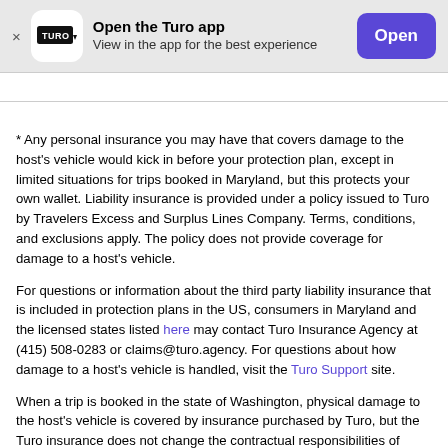[Figure (logo): Turo app banner with logo, text 'Open the Turo app / View in the app for the best experience', and Open button]
* Any personal insurance you may have that covers damage to the host's vehicle would kick in before your protection plan, except in limited situations for trips booked in Maryland, but this protects your own wallet. Liability insurance is provided under a policy issued to Turo by Travelers Excess and Surplus Lines Company. Terms, conditions, and exclusions apply. The policy does not provide coverage for damage to a host's vehicle.
For questions or information about the third party liability insurance that is included in protection plans in the US, consumers in Maryland and the licensed states listed here may contact Turo Insurance Agency at (415) 508-0283 or claims@turo.agency. For questions about how damage to a host's vehicle is handled, visit the Turo Support site.
When a trip is booked in the state of Washington, physical damage to the host's vehicle is covered by insurance purchased by Turo, but the Turo insurance does not change the contractual responsibilities of hosts or guests with respect to physical damage to a host's vehicle.